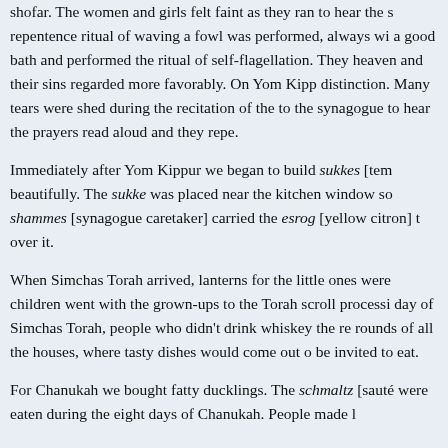shofar. The women and girls felt faint as they ran to hear the shofar. The repentence ritual of waving a fowl was performed, always with a good bath and performed the ritual of self-flagellation. They heaven and their sins regarded more favorably. On Yom Kipp distinction. Many tears were shed during the recitation of the to the synagogue to hear the prayers read aloud and they repe.
Immediately after Yom Kippur we began to build sukkes [temp beautifully. The sukke was placed near the kitchen window so shammes [synagogue caretaker] carried the esrog [yellow citron] t over it.
When Simchas Torah arrived, lanterns for the little ones were children went with the grown-ups to the Torah scroll processi day of Simchas Torah, people who didn't drink whiskey the re rounds of all the houses, where tasty dishes would come out o be invited to eat.
For Chanukah we bought fatty ducklings. The schmaltz [sauté were eaten during the eight days of Chanukah. People made l